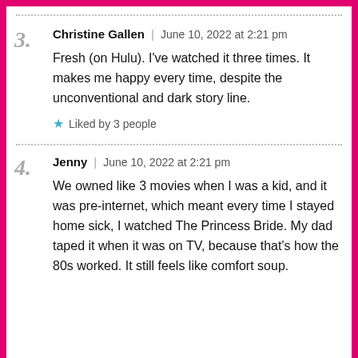3. Christine Gallen | June 10, 2022 at 2:21 pm
Fresh (on Hulu). I've watched it three times. It makes me happy every time, despite the unconventional and dark story line.
★ Liked by 3 people
4. Jenny | June 10, 2022 at 2:21 pm
We owned like 3 movies when I was a kid, and it was pre-internet, which meant every time I stayed home sick, I watched The Princess Bride. My dad taped it when it was on TV, because that's how the 80s worked. It still feels like comfort soup.